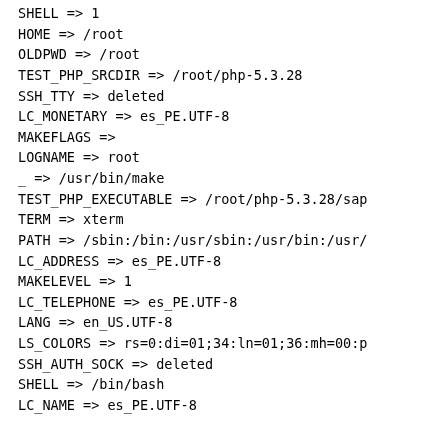SHELL => 1
HOME => /root
OLDPWD => /root
TEST_PHP_SRCDIR => /root/php-5.3.28
SSH_TTY => deleted
LC_MONETARY => es_PE.UTF-8
MAKEFLAGS =>
LOGNAME => root
_ => /usr/bin/make
TEST_PHP_EXECUTABLE => /root/php-5.3.28/sap
TERM => xterm
PATH => /sbin:/bin:/usr/sbin:/usr/bin:/usr/
LC_ADDRESS => es_PE.UTF-8
MAKELEVEL => 1
LC_TELEPHONE => es_PE.UTF-8
LANG => en_US.UTF-8
LS_COLORS => rs=0:di=01;34:ln=01;36:mh=00:p
SSH_AUTH_SOCK => deleted
SHELL => /bin/bash
LC_NAME => es_PE.UTF-8